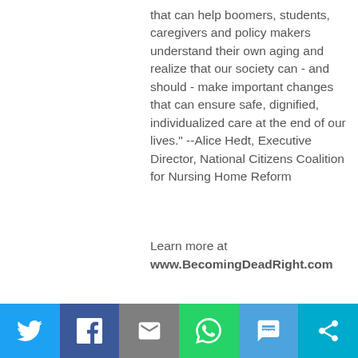that can help boomers, students, caregivers and policy makers understand their own aging and realize that our society can - and should - make important changes that can ensure safe, dignified, individualized care at the end of our lives." --Alice Hedt, Executive Director, National Citizens Coalition for Nursing Home Reform
Learn more at www.BecomingDeadRight.com
From Loving Healing Press